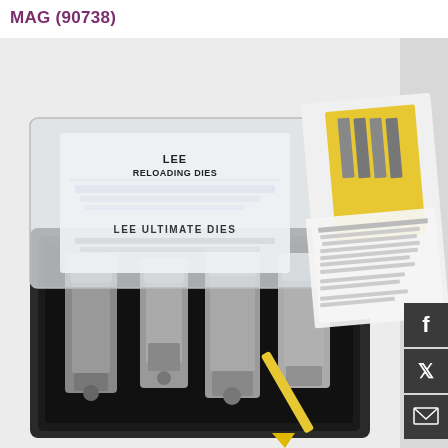MAG (90738)
[Figure (photo): Lee Reloading Dies product set shown open in plastic case with instruction booklet beside it. The case contains 4 metal reloading die components. A yellow plastic tool/powder measure is visible. Social media icons (Facebook, Twitter, Email) appear as dark square buttons on the right edge.]